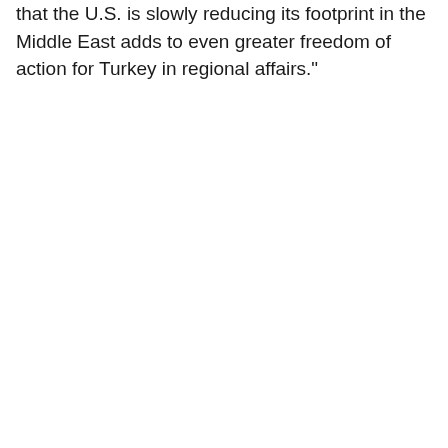that the U.S. is slowly reducing its footprint in the Middle East adds to even greater freedom of action for Turkey in regional affairs.